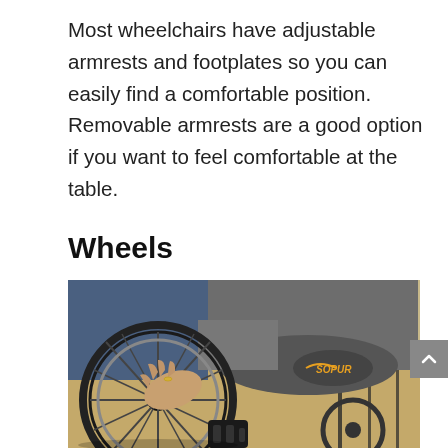Most wheelchairs have adjustable armrests and footplates so you can easily find a comfortable position. Removable armrests are a good option if you want to feel comfortable at the table.
Wheels
[Figure (photo): Close-up photo of a person's hand on the wheel of a Sopur brand wheelchair, outdoors with a landscape background. The wheelchair has large spoked wheels and the seat fabric shows the Sopur logo.]